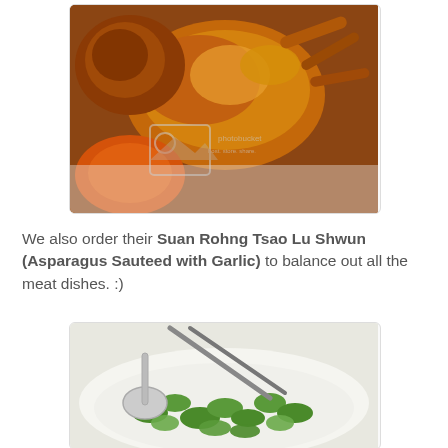[Figure (photo): Close-up photo of roasted/glazed poultry pieces (duck or chicken) with golden-brown skin on a white plate, with a Photobucket watermark overlay]
We also order their Suan Rohng Tsao Lu Shwun (Asparagus Sauteed with Garlic) to balance out all the meat dishes. :)
[Figure (photo): Photo of sauteed asparagus pieces in a white bowl with chopsticks and a spoon]